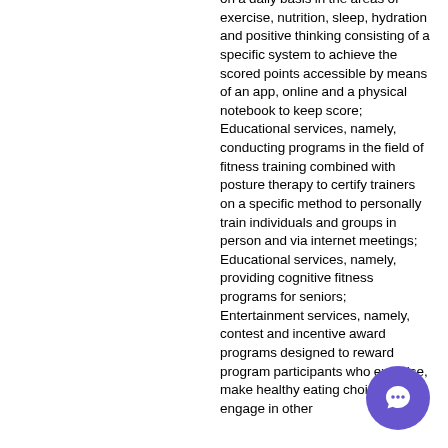on a daily basis in the areas of exercise, nutrition, sleep, hydration and positive thinking consisting of a specific system to achieve the scored points accessible by means of an app, online and a physical notebook to keep score; Educational services, namely, conducting programs in the field of fitness training combined with posture therapy to certify trainers on a specific method to personally train individuals and groups in person and via internet meetings; Educational services, namely, providing cognitive fitness programs for seniors; Entertainment services, namely, contest and incentive award programs designed to reward program participants who exercise, make healthy eating choices, and engage in other
[Figure (other): Purple circular chat button with speech bubble icon in the bottom-right corner]